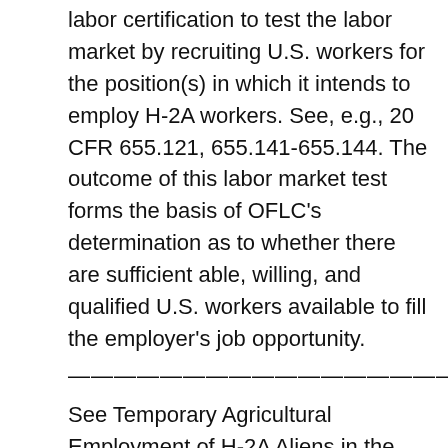labor certification to test the labor market by recruiting U.S. workers for the position(s) in which it intends to employ H-2A workers. See, e.g., 20 CFR 655.121, 655.141-655.144. The outcome of this labor market test forms the basis of OFLC's determination as to whether there are sufficient able, willing, and qualified U.S. workers available to fill the employer's job opportunity.
————————————————————————
See Temporary Agricultural Employment of H-2A Aliens in the United States; Final Rule, 75 FR 6884 (Feb. 12, 2010) (2010 Final